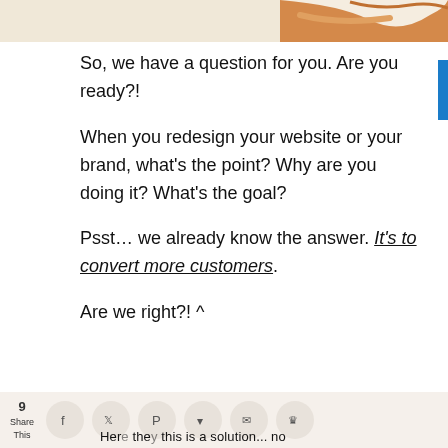[Figure (illustration): Partial decorative illustration visible at the top of the page — appears to show a stylized hand/arm in beige and orange/amber tones against a light background.]
So, we have a question for you. Are you ready?!
When you redesign your website or your brand, what's the point? Why are you doing it? What's the goal?
Psst… we already know the answer. It's to convert more customers.
Are we right?! ^
9 Share This [social share icons: Facebook, Twitter, Pinterest, Pocket, Email, Crown] Here, they...this is a solution...no